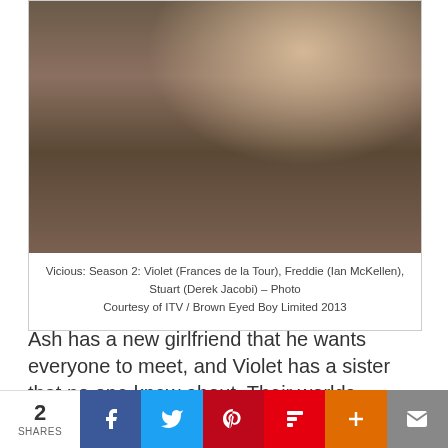[Figure (photo): Scene from Vicious Season 2: three actors in a living room set. A woman in red top (Frances de la Tour) and an older man in a striped suit (Derek Jacobi) sit on a sofa, while another man in a tuxedo (Ian McKellen) stands behind them holding a tray.]
Vicious: Season 2: Violet (Frances de la Tour), Freddie (Ian McKellen), Stuart (Derek Jacobi) – Photo Courtesy of ITV / Brown Eyed Boy Limited 2013
Ash has a new girlfriend that he wants everyone to meet, and Violet has a sister that no one knew about. Their worlds
2 SHARES | Facebook | Twitter | Pinterest | Flipboard | Plus | Email